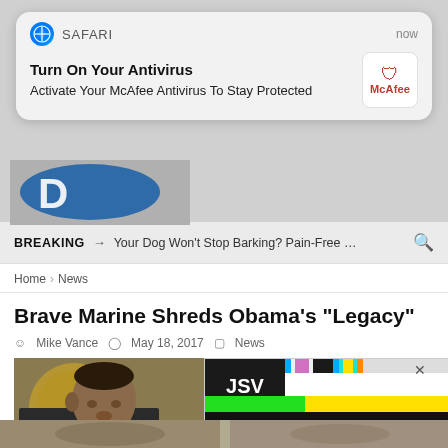[Figure (screenshot): Safari push notification popup: 'Turn On Your Antivirus - Activate Your McAfee Antivirus To Stay Protected', with McAfee logo, labeled 'now']
BREAKING → Your Dog Won't Stop Barking? Pain-Free ...
Home > News
Brave Marine Shreds Obama's "Legacy"
Mike Vance  May 18, 2017  News
[Figure (photo): Photo of Barack Obama speaking at a podium, with an overlaid advertisement showing 'JSV' text box, yellow/green/black color bars, and the word 'CAPM' in large italic text. An X close button appears in the upper right.]